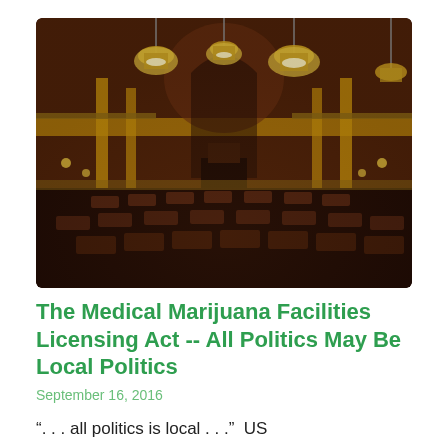[Figure (photo): Interior photograph of a legislative chamber (state capitol) showing ornate dark wood desks arranged in semicircular rows, grand chandeliers hanging from the ceiling, gold and dark red architectural details, columns, balconies, and a speaker's dais at the far end.]
The Medical Marijuana Facilities Licensing Act -- All Politics May Be Local Politics
September 16, 2016
“. . . all politics is local . . .”  US